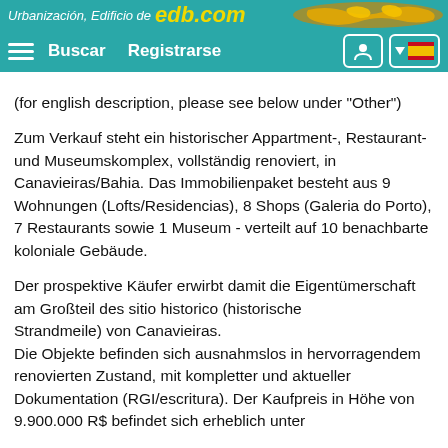Urbanización, Edificio de edb.com — Buscar | Registrarse
(for english description, please see below under "Other")
Zum Verkauf steht ein historischer Appartment-, Restaurant- und Museumskomplex, vollständig renoviert, in Canavieiras/Bahia. Das Immobilienpaket besteht aus 9 Wohnungen (Lofts/Residencias), 8 Shops (Galeria do Porto), 7 Restaurants sowie 1 Museum - verteilt auf 10 benachbarte koloniale Gebäude.
Der prospektive Käufer erwirbt damit die Eigentümerschaft am Großteil des sitio historico (historische Strandmeile) von Canavieiras.
Die Objekte befinden sich ausnahmslos in hervorragendem renovierten Zustand, mit kompletter und aktueller Dokumentation (RGI/escritura). Der Kaufpreis in Höhe von 9.900.000 R$ befindet sich erheblich unter